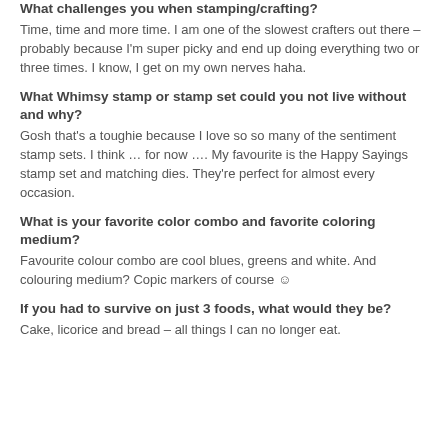What challenges you when stamping/crafting?
Time, time and more time.  I am one of the slowest crafters out there – probably because I'm super picky and end up doing everything two or three times.  I know, I get on my own nerves haha.
What Whimsy stamp or stamp set could you not live without and why?
Gosh that's a toughie because I love so so many of the sentiment stamp sets.  I think … for now …. My favourite is the Happy Sayings stamp set and matching dies.  They're perfect for almost every occasion.
What is your favorite color combo and favorite coloring medium?
Favourite colour combo are cool blues, greens and white.  And colouring medium?  Copic markers of course ☺
If you had to survive on just 3 foods, what would they be?
Cake, licorice and bread – all things I can no longer eat.